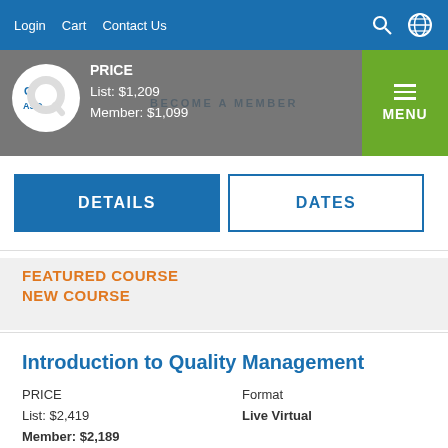Login  Cart  Contact Us
PRICE
List: $1,209
Member: $1,099
BECOME A MEMBER
MENU
DETAILS
DATES
FEATURED COURSE
NEW COURSE
Introduction to Quality Management
PRICE
List: $2,419
Member: $2,189
Format
Live Virtual